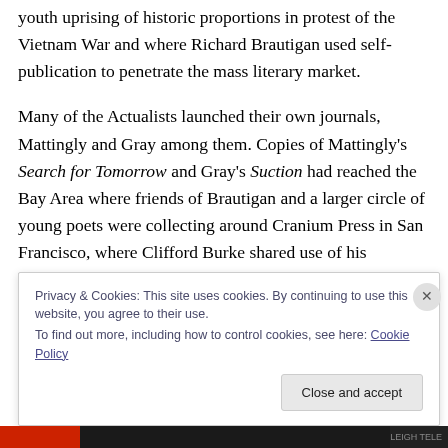youth uprising of historic proportions in protest of the Vietnam War and where Richard Brautigan used self-publication to penetrate the mass literary market.
Many of the Actualists launched their own journals, Mattingly and Gray among them. Copies of Mattingly's Search for Tomorrow and Gray's Suction had reached the Bay Area where friends of Brautigan and a larger circle of young poets were collecting around Cranium Press in San Francisco, where Clifford Burke shared use of his letterpress, among them Keith Abbott, an old friend of
Privacy & Cookies: This site uses cookies. By continuing to use this website, you agree to their use.
To find out more, including how to control cookies, see here: Cookie Policy
Close and accept